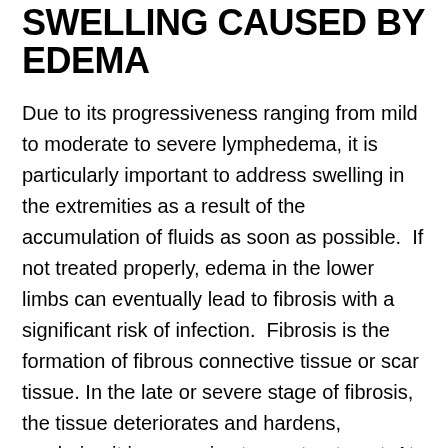SWELLING CAUSED BY EDEMA
Due to its progressiveness ranging from mild to moderate to severe lymphedema, it is particularly important to address swelling in the extremities as a result of the accumulation of fluids as soon as possible.  If not treated properly, edema in the lower limbs can eventually lead to fibrosis with a significant risk of infection.  Fibrosis is the formation of fibrous connective tissue or scar tissue. In the late or severe stage of fibrosis, the tissue deteriorates and hardens, rendering it irresponsive to any treatment. At this point the condition is also irreversible.